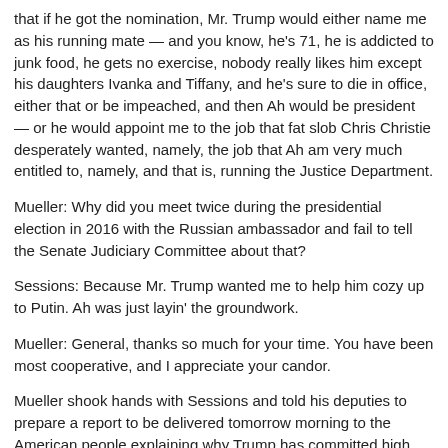that if he got the nomination, Mr. Trump would either name me as his running mate — and you know, he's 71, he is addicted to junk food, he gets no exercise, nobody really likes him except his daughters Ivanka and Tiffany, and he's sure to die in office, either that or be impeached, and then Ah would be president — or he would appoint me to the job that fat slob Chris Christie desperately wanted, namely, the job that Ah am very much entitled to, namely, and that is, running the Justice Department.
Mueller: Why did you meet twice during the presidential election in 2016 with the Russian ambassador and fail to tell the Senate Judiciary Committee about that?
Sessions:  Because Mr. Trump wanted me to help him cozy up to Putin. Ah was just layin' the groundwork.
Mueller: General, thanks so much for your time. You have been most cooperative, and I appreciate your candor.
Mueller shook hands with Sessions and told his deputies to prepare a report to be delivered tomorrow morning to the American people explaining why Trump has committed high crimes and misdemeanors.
Back to top